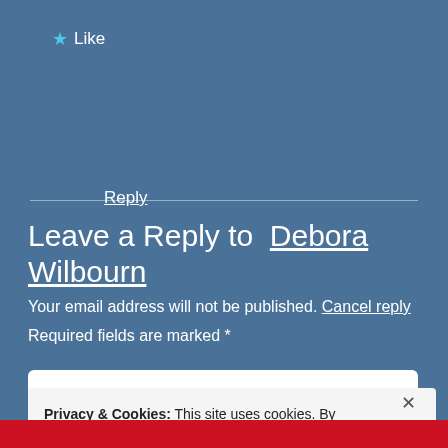★ Like
Reply
Leave a Reply to Debora Wilbourn
Your email address will not be published. Cancel reply
Required fields are marked *
COMMENT *
Privacy & Cookies: This site uses cookies. By continuing to use this website, you agree to their use.
To find out more, including how to control cookies, see here: Cookie Policy
Close and accept